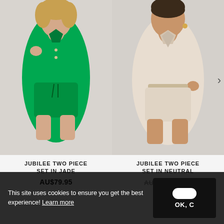[Figure (photo): Model wearing Jubilee Two Piece Set in Jade (green shirt and shorts)]
JUBILEE TWO PIECE SET IN JADE
AU$79.95
[Figure (photo): Model wearing Jubilee Two Piece Set in Neutral (beige/cream shirt and shorts)]
JUBILEE TWO PIECE SET IN NEUTRAL
AU$79.95 AU$
This site uses cookies to ensure you get the best experience! Learn more
OK, C